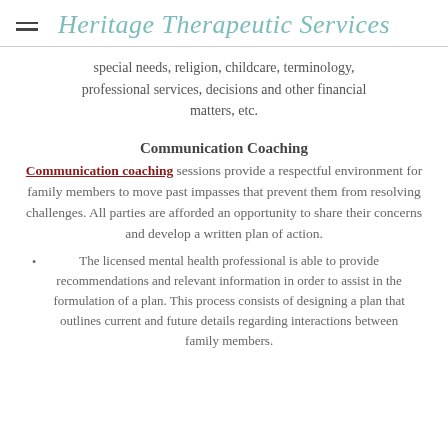Heritage Therapeutic Services
special needs, religion, childcare, terminology, professional services, decisions and other financial matters, etc.
Communication Coaching
Communication coaching sessions provide a respectful environment for family members to move past impasses that prevent them from resolving challenges. All parties are afforded an opportunity to share their concerns and develop a written plan of action.
The licensed mental health professional is able to provide recommendations and relevant information in order to assist in the formulation of a plan. This process consists of designing a plan that outlines current and future details regarding interactions between family members.